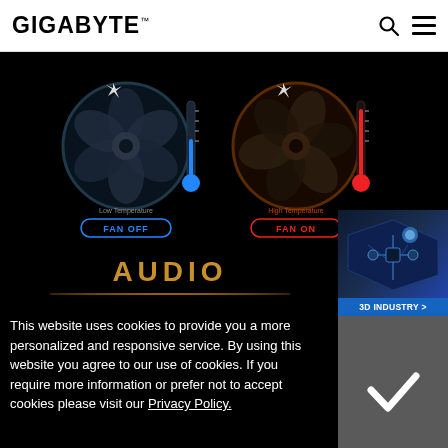[Figure (logo): GIGABYTE logo wordmark in bold black with trademark symbol]
[Figure (illustration): Two fan icons side by side on black background: left fan with blue thermometer labeled 'Low Temperature' and 'FAN OFF' button; right fan with red thermometer labeled 'High Temperature' and 'FAN ON' button]
AUDIO
[Figure (illustration): 3D Industry sidebar graphic showing isometric circuit board/industrial image with '3D INDUSTRY >' label in blue]
This website uses cookies to provide you a more personalized and responsive service. By using this website you agree to our use of cookies. If you require more information or prefer not to accept cookies please visit our Privacy Policy.